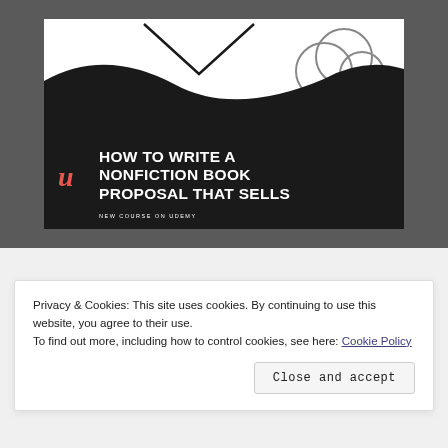[Figure (illustration): Course card on dark gray background: white top section with book silhouette graphic, black wave-shaped bottom with Udemy 'u' logo in red, bold white text 'HOW TO WRITE A NONFICTION BOOK PROPOSAL THAT SELLS', and subtitle 'NEW COURSE ON UDEMY'. Decorative overlapping circles on right side.]
Privacy & Cookies: This site uses cookies. By continuing to use this website, you agree to their use.
To find out more, including how to control cookies, see here: Cookie Policy
Close and accept